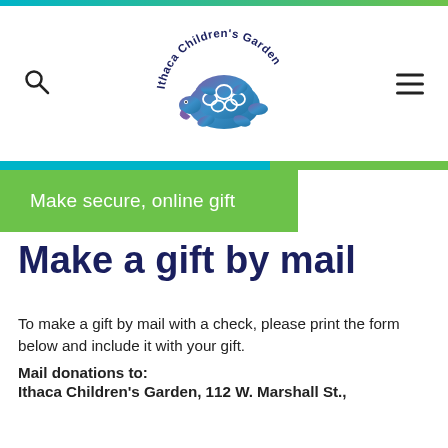[Figure (logo): Ithaca Children's Garden logo — a turtle with a decorated shell in blue-to-purple gradient, text arced above reading 'Ithaca Children's Garden']
Make secure, online gift
Make a gift by mail
To make a gift by mail with a check, please print the form below and include it with your gift.
Mail donations to:
Ithaca Children's Garden, 112 W. Marshall St.,